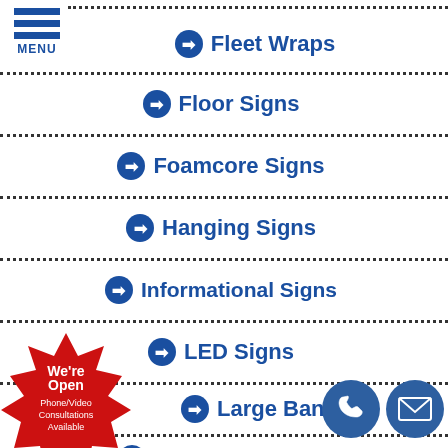[Figure (logo): Hamburger menu icon with three blue horizontal bars and MENU label below]
Fleet Wraps
Floor Signs
Foamcore Signs
Hanging Signs
Informational Signs
LED Signs
Large Banners
Lighted Signs
[Figure (infographic): Red starburst badge with white text: We're Open Phone/Video Consultations Available]
[Figure (infographic): Blue phone circle icon and blue mail/envelope circle icon in bottom right corner]